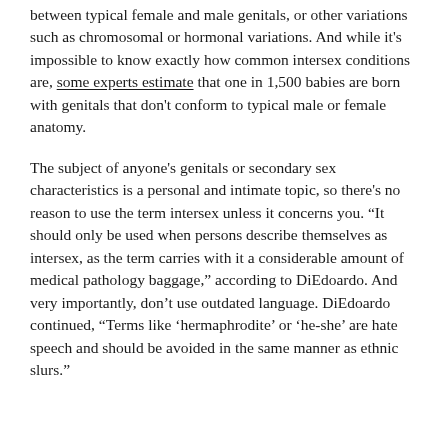between typical female and male genitals, or other variations such as chromosomal or hormonal variations. And while it's impossible to know exactly how common intersex conditions are, some experts estimate that one in 1,500 babies are born with genitals that don't conform to typical male or female anatomy.
The subject of anyone's genitals or secondary sex characteristics is a personal and intimate topic, so there's no reason to use the term intersex unless it concerns you. “It should only be used when persons describe themselves as intersex, as the term carries with it a considerable amount of medical pathology baggage,” according to DiEdoardo. And very importantly, don’t use outdated language. DiEdoardo continued, “Terms like ‘hermaphrodite’ or ‘he-she’ are hate speech and should be avoided in the same manner as ethnic slurs.”